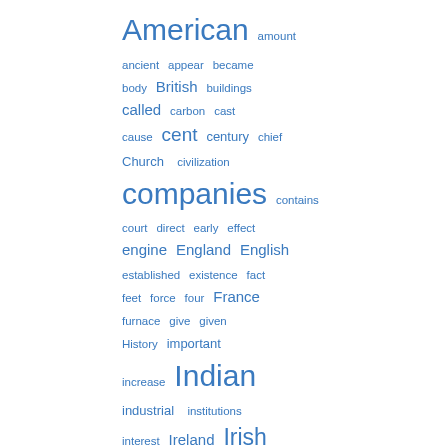[Figure (infographic): Word cloud displayed in blue text on white background, right-aligned, featuring words of varying sizes indicating frequency: largest words include 'American', 'companies', 'Indian', 'iron', 'Italy', 'Irish'; medium words include 'British', 'cent', 'century', 'England', 'English', 'France', 'Ireland'; smaller words include 'amount', 'ancient', 'appear', 'became', 'body', 'buildings', 'called', 'carbon', 'cast', 'cause', 'chief', 'Church', 'civilization', 'contains', 'court', 'direct', 'early', 'effect', 'engine', 'established', 'existence', 'fact', 'feet', 'force', 'four', 'furnace', 'give', 'given', 'History', 'important', 'increase', 'industrial', 'institutions', 'interest', 'John']